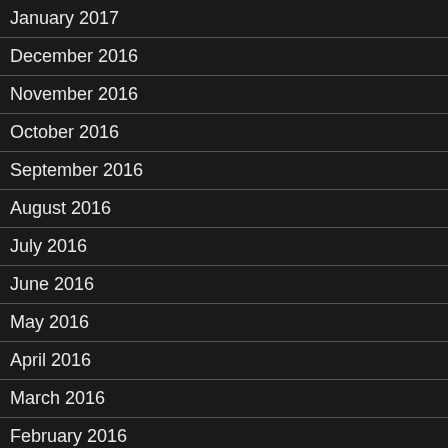January 2017
December 2016
November 2016
October 2016
September 2016
August 2016
July 2016
June 2016
May 2016
April 2016
March 2016
February 2016
January 2016